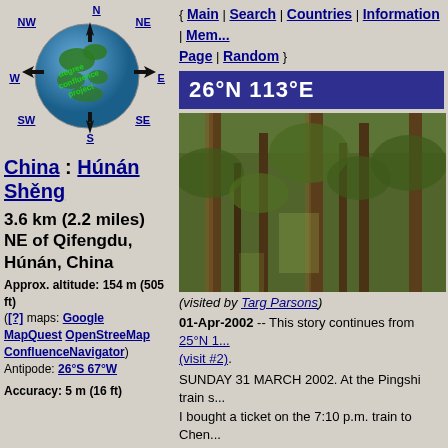[Figure (infographic): Degree Confluence Project globe with compass directions N, NW, NE, W, E, SW, S, SE]
China : Húnán Shěng
3.6 km (2.2 miles) NE of Qifengdu, Húnán, China
Approx. altitude: 154 m (505 ft)
([?] maps: Google MapQuest OpenStreeMap ConfluenceNavigator)
Antipode: 26°S 67°W
Accuracy: 5 m (16 ft)
{ Main | Search | Countries | Information | Members Page | Random }
26°N 113°E
[Figure (photo): Forest photo showing tall thin trees in a dense woodland]
(visited by Targ Parsons)
01-Apr-2002 -- This story continues from 25°N 113°E (visit #2).
SUNDAY 31 MARCH 2002. At the Pingshi train s... I bought a ticket on the 7:10 p.m. train to Chen...